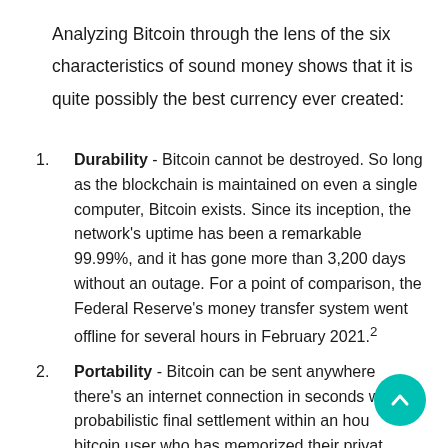Analyzing Bitcoin through the lens of the six characteristics of sound money shows that it is quite possibly the best currency ever created:
Durability - Bitcoin cannot be destroyed. So long as the blockchain is maintained on even a single computer, Bitcoin exists. Since its inception, the network's uptime has been a remarkable 99.99%, and it has gone more than 3,200 days without an outage. For a point of comparison, the Federal Reserve's money transfer system went offline for several hours in February 2021.²
Portability - Bitcoin can be sent anywhere there's an internet connection in seconds with probabilistic final settlement within an hour. A bitcoin user who has memorized their private key literally carries their bitcoin with them